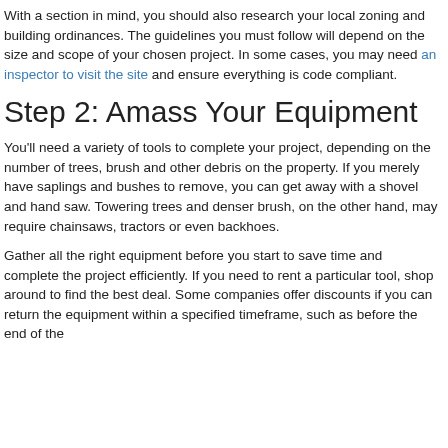With a section in mind, you should also research your local zoning and building ordinances. The guidelines you must follow will depend on the size and scope of your chosen project. In some cases, you may need an inspector to visit the site and ensure everything is code compliant.
Step 2: Amass Your Equipment
You'll need a variety of tools to complete your project, depending on the number of trees, brush and other debris on the property. If you merely have saplings and bushes to remove, you can get away with a shovel and hand saw. Towering trees and denser brush, on the other hand, may require chainsaws, tractors or even backhoes.
Gather all the right equipment before you start to save time and complete the project efficiently. If you need to rent a particular tool, shop around to find the best deal. Some companies offer discounts if you can return the equipment within a specified timeframe, such as before the end of the